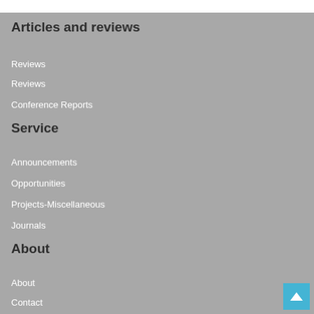Articles and reviews
Reviews
Reviews
Conference Reports
Service
Announcements
Opportunities
Projects-Miscellaneous
Journals
About
About
Contact